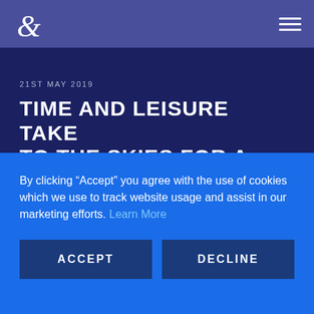Navigation header with logo and hamburger menu
21ST MAY 2019
TIME AND LEISURE TAKE TO THE SKIES FOR A
By clicking “Accept” you agree with the use of cookies which we use to track website usage and assist in our marketing efforts. Learn More
ACCEPT
DECLINE